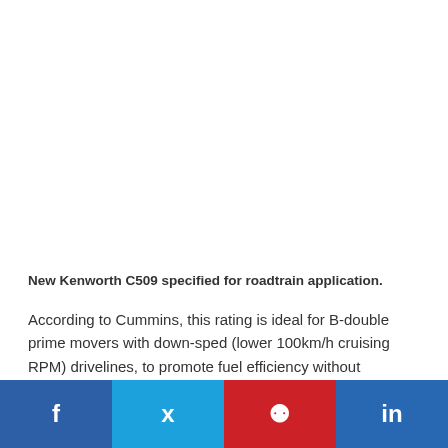New Kenworth C509 specified for roadtrain application.
According to Cummins, this rating is ideal for B-double prime movers with down-sped (lower 100km/h cruising RPM) drivelines, to promote fuel efficiency without
Facebook Twitter Pinterest LinkedIn